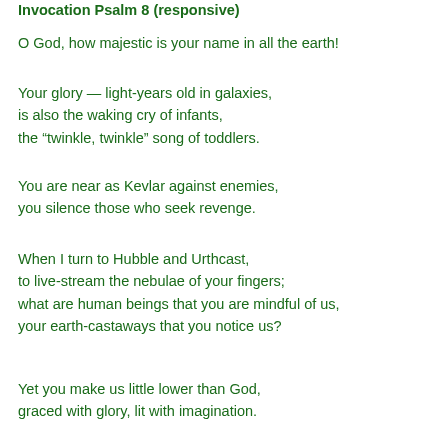Invocation Psalm 8 (responsive)
O God, how majestic is your name in all the earth!
Your glory — light-years old in galaxies,
is also the waking cry of infants,
the “twinkle, twinkle” song of toddlers.
You are near as Kevlar against enemies,
you silence those who seek revenge.
When I turn to Hubble and Urthcast,
to live-stream the nebulae of your fingers;
what are human beings that you are mindful of us,
your earth-castaways that you notice us?
Yet you make us little lower than God,
graced with glory, lit with imagination.